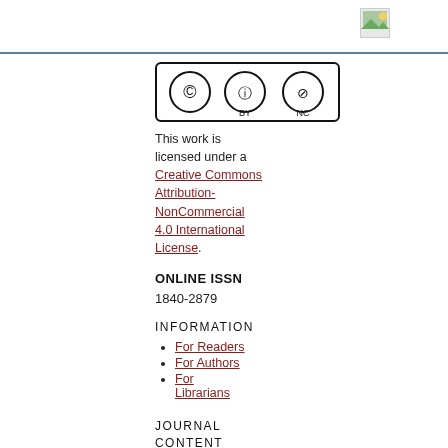[Figure (logo): Small landscape/image logo placeholder in top right area of header]
[Figure (logo): Creative Commons license badge showing CC BY NC icons in a rounded rectangle border]
This work is licensed under a Creative Commons Attribution-NonCommercial 4.0 International License.
ONLINE ISSN
1840-2879
INFORMATION
For Readers
For Authors
For Librarians
JOURNAL CONTENT
Search
Search Scope
All